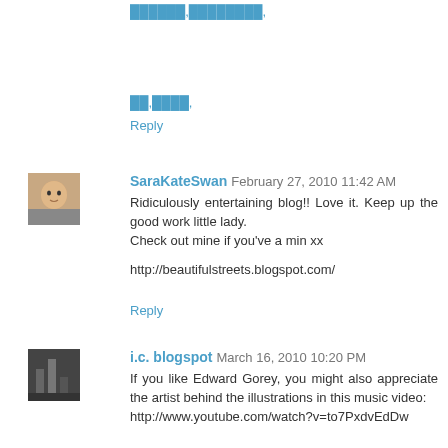██████,████████,
██,████,
Reply
SaraKateSwan  February 27, 2010 11:42 AM
Ridiculously entertaining blog!! Love it. Keep up the good work little lady.
Check out mine if you've a min xx

http://beautifulstreets.blogspot.com/
Reply
i.c. blogspot  March 16, 2010 10:20 PM
If you like Edward Gorey, you might also appreciate the artist behind the illustrations in this music video: http://www.youtube.com/watch?v=to7PxdvEdDw